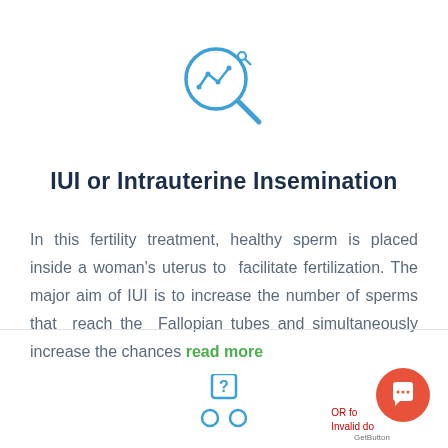[Figure (illustration): Blue outline icon of a magnifying glass with a line chart (data analysis graph) inside it, with a small circle on top right of the handle]
IUI or Intrauterine Insemination
In this fertility treatment, healthy sperm is placed inside a woman's uterus to facilitate fertilization. The major aim of IUI is to increase the number of sperms that reach the Fallopian tubes and simultaneously increase the chances read more
[Figure (illustration): Blue outline icon of a person with a question mark above them, partially visible at the bottom of the page]